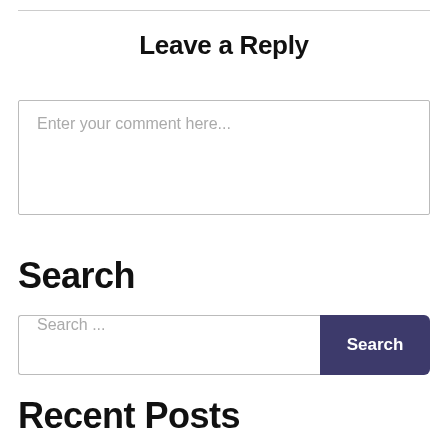Leave a Reply
Enter your comment here...
Search
[Figure (other): Search input field with placeholder text 'Search ...' and a dark purple 'Search' button on the right.]
Recent Posts